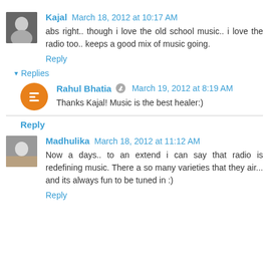Kajal  March 18, 2012 at 10:17 AM
abs right.. though i love the old school music.. i love the radio too.. keeps a good mix of music going.
Reply
▾ Replies
Rahul Bhatia  March 19, 2012 at 8:19 AM
Thanks Kajal! Music is the best healer:)
Reply
Madhulika  March 18, 2012 at 11:12 AM
Now a days.. to an extend i can say that radio is redefining music. There a so many varieties that they air... and its always fun to be tuned in :)
Reply